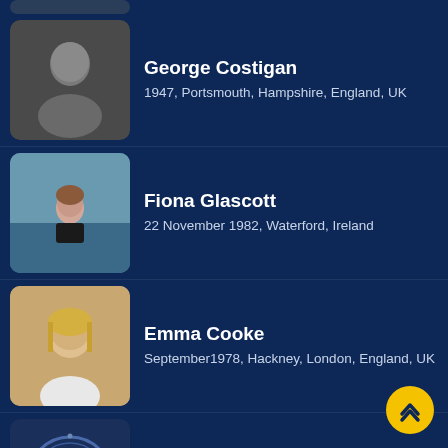George Costigan
1947, Portsmouth, Hampshire, England, UK
Fiona Glascott
22 November 1982, Waterford, Ireland
Emma Cooke
September1978, Hackney, London, England, UK
Colin Farrell
6 December 1938, London, England, UK
Charles De'Ath
24 May 1968, Hampstead, London, England, UK
Claire Cox
19 December 1975, Peterborough, England, UK
Amanda Haberland